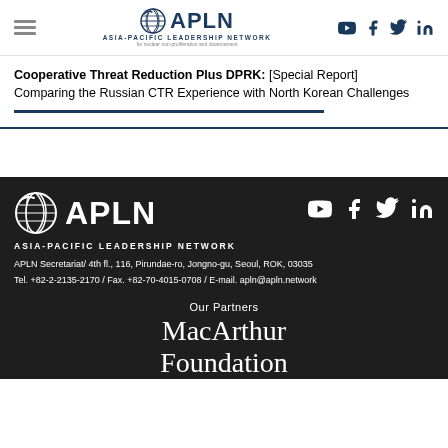APLN - Asia-Pacific Leadership Network
Cooperative Threat Reduction Plus DPRK: [Special Report] Comparing the Russian CTR Experience with North Korean Challenges
[Figure (logo): APLN Asia-Pacific Leadership Network logo with globe icon, white background version]
[Figure (logo): APLN Asia-Pacific Leadership Network logo with globe icon, dark background version]
ASIA-PACIFIC LEADERSHIP NETWORK
APLN Secretariat/ 4th fl., 116, Pirundae-ro, Jongno-gu, Seoul, ROK, 03035
Tel. +82-2-2135-2170 / Fax. +82-70-4015-0708 / E-mail. apln@apln.network
Our Partners
MacArthur Foundation